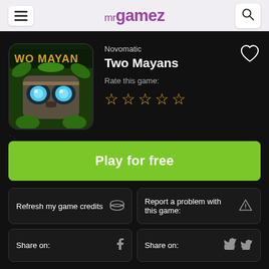mr gamez
Novomatic
Two Mayans
Rate this game:
[Figure (illustration): Two Mayans slot game thumbnail showing a Mayan mask with blue glowing eyes surrounded by jungle foliage]
Play for free
Refresh my game credits
Report a problem with this game:
Share on:
Share on: